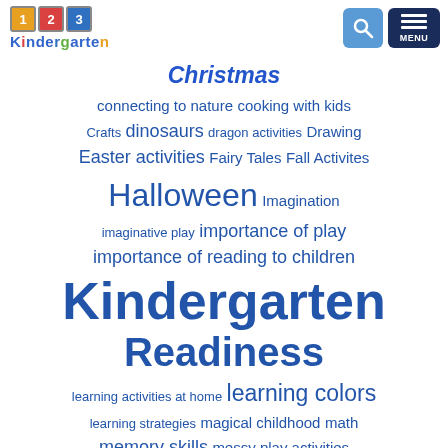[Figure (logo): 123 Kindergarten logo with colorful alphabet blocks and blue text]
[Figure (infographic): Word cloud of educational topics including Kindergarten Readiness, Halloween, learning colors, spring activities, and many more educational category tags in various font sizes]
summer activities  Valentine activity